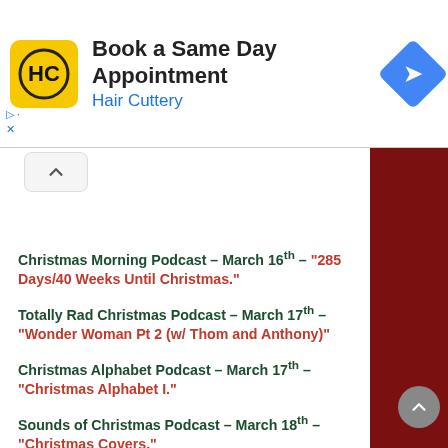[Figure (screenshot): Hair Cuttery advertisement banner with yellow logo, 'Book a Same Day Appointment' headline, 'Hair Cuttery' subtext in blue, and a blue diamond navigation icon.]
Christmas Morning Podcast – March 16th – "285 Days/40 Weeks Until Christmas."
Totally Rad Christmas Podcast – March 17th – "Wonder Woman Pt 2 (w/ Thom and Anthony)"
Christmas Alphabet Podcast – March 17th – "Christmas Alphabet I."
Sounds of Christmas Podcast – March 18th – "Christmas Covers."